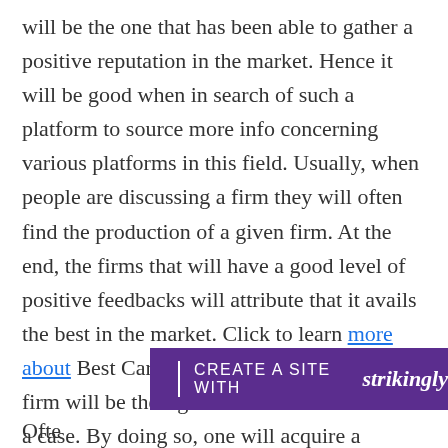will be the one that has been able to gather a positive reputation in the market. Hence it will be good when in search of such a platform to source more info concerning various platforms in this field. Usually, when people are discussing a firm they will often find the production of a given firm. At the end, the firms that will have a good level of positive feedbacks will attribute that it avails the best in the market. Click to learn more about Best Car. Usually, prior clients to that firm will be the right one to consider in such a case. By doing so, one will acquire a vehicle that has the best features.
[Figure (other): Purple banner with 'CREATE A SITE WITH strikingly' text, partially overlapping the main text content]
Often...